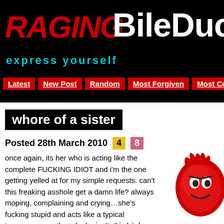[Figure (logo): RagingBileDuct website logo with red RAGING text, white BileDuct text on black background, with tagline 'express yourself' in teal]
Latest | New Post | Random | Most Forgiven | Most Co...
whore of a sister
Posted 28th March 2010  4  8
once again, its her who is acting like the complete FUCKING IDIOT and i'm the one getting yelled at for my simple requests. can't this freaking asshole get a damn life? always moping, complaining and crying…she's fucking stupid and acts like a typical teenager, even though she isn't. this bitch starts her damn fake tears, and look where that gets me. i could and SHOULD tell all the stupid things she does, but do i? NO. and she is a moron who can't even comprehend basic rules. i WILL get back at her for this, and it'll be worse than all the